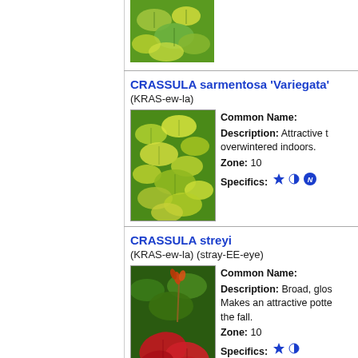[Figure (photo): Close-up photo of variegated succulent leaves with green and yellow coloring, partial view at top of page]
CRASSULA sarmentosa 'Variegata'
(KRAS-ew-la)
[Figure (photo): Close-up photo of Crassula sarmentosa Variegata showing dense green and yellow variegated leaves]
Common Name:
Description: Attractive t overwintered indoors.
Zone: 10
Specifics: [star icon] [half-circle icon] [N icon]
CRASSULA streyi
(KRAS-ew-la) (stray-EE-eye)
[Figure (photo): Photo of Crassula streyi showing broad glossy red leaves and an orange-red flower spike against green foliage background]
Common Name:
Description: Broad, glos Makes an attractive potte the fall.
Zone: 10
Specifics: [star icon] [half-circle icon]